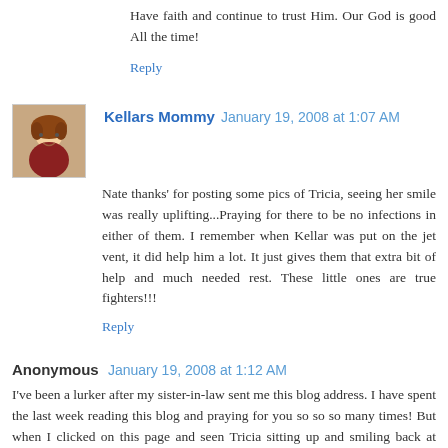Have faith and continue to trust Him. Our God is good All the time!
Reply
Kellars Mommy  January 19, 2008 at 1:07 AM
Nate thanks' for posting some pics of Tricia, seeing her smile was really uplifting...Praying for there to be no infections in either of them. I remember when Kellar was put on the jet vent, it did help him a lot. It just gives them that extra bit of help and much needed rest. These little ones are true fighters!!!
Reply
Anonymous  January 19, 2008 at 1:12 AM
I've been a lurker after my sister-in-law sent me this blog address. I have spent the last week reading this blog and praying for you so so so many times! But when I clicked on this page and seen Tricia sitting up and smiling back at me... I had to catch my breath. I started laughing and crying